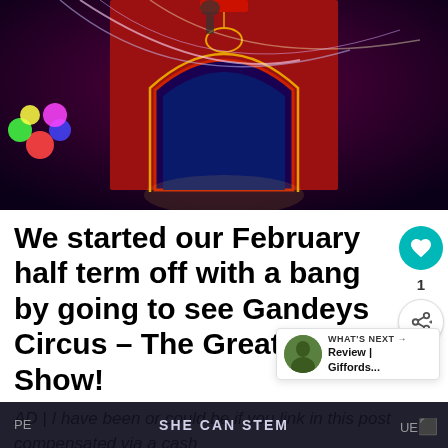[Figure (photo): Circus interior with illuminated red arch, blue curtain, colorful lighting and aerial light trails]
We started our February half term off with a bang by going to see Gandeys Circus – The Greatest Show!
AD | I have been or could be if you link in this post compensated via a cash
SHE CAN STEM